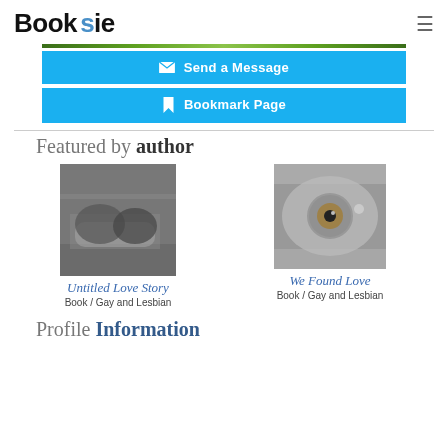Booksie
Send a Message
Bookmark Page
Featured by author
[Figure (photo): Black and white photo of two people lying down]
Untitled Love Story
Book / Gay and Lesbian
[Figure (photo): Close-up macro photo of a human eye in black and white with amber/green iris]
We Found Love
Book / Gay and Lesbian
Profile Information